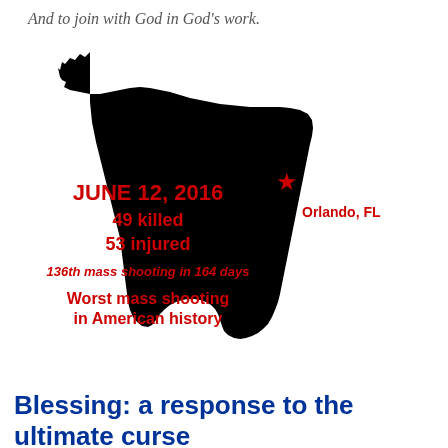And to join with God in God's work.
[Figure (infographic): Black silhouette map of Florida with a red star marking Orlando, FL. Overlaid red text reads: JUNE 12, 2016 / 49 killed / 53 injured / 136th mass shooting in 164 days / Worst mass shooting in American history]
Blessing: a response to the ultimate curse